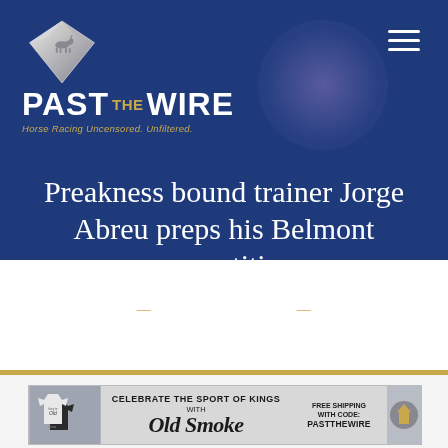[Figure (logo): Past The Wire logo with diamond/horse graphic and tagline 'Horse Racing Uncensored. Unfiltered.']
Preakness bound trainer Jorge Abreu preps his Belmont competition
— September 27, 2020 —
[Figure (infographic): Old Smoke advertisement banner: 'CELEBRATE THE SPORT OF KINGS WITH Old Smoke FREE SHIPPING WITH CODE: PASTTHEWIRE']